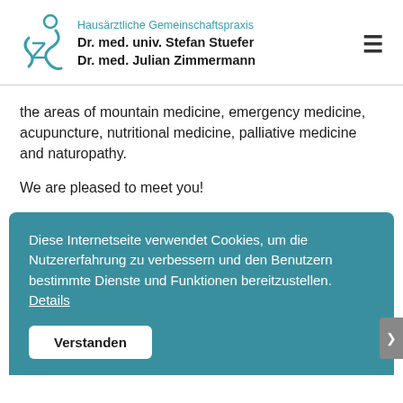Hausärztliche Gemeinschaftspraxis Dr. med. univ. Stefan Stuefer Dr. med. Julian Zimmermann
the areas of mountain medicine, emergency medicine, acupuncture, nutritional medicine, palliative medicine and naturopathy.
We are pleased to meet you!
Diese Internetseite verwendet Cookies, um die Nutzererfahrung zu verbessern und den Benutzern bestimmte Dienste und Funktionen bereitzustellen. Details
Verstanden